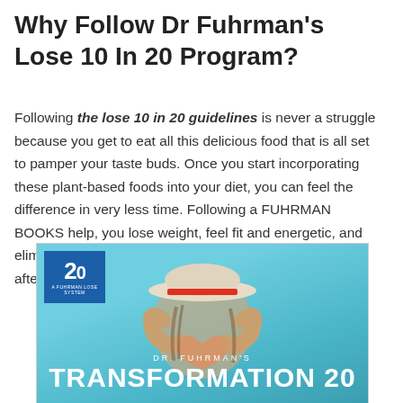Why Follow Dr Fuhrman's Lose 10 In 20 Program?
Following the lose 10 in 20 guidelines is never a struggle because you get to eat all this delicious food that is all set to pamper your taste buds. Once you start incorporating these plant-based foods into your diet, you can feel the difference in very less time. Following a FUHRMAN BOOKS help, you lose weight, feel fit and energetic, and eliminate any potential health risks. The feeling you get after is one of the best motivators that keep people going.
[Figure (photo): Promotional image for Dr. Fuhrman's Transformation 20 program showing a person wearing a white hat making a heart shape with their hands, with a teal/blue background and the program logo in the upper left corner.]